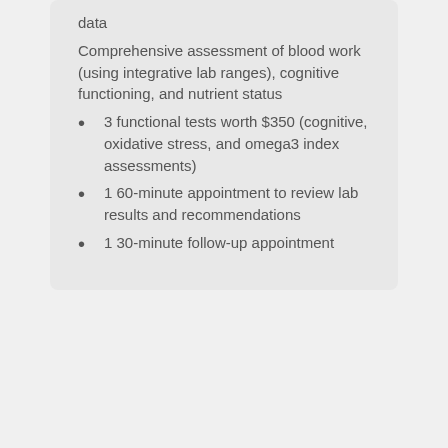data
Comprehensive assessment of blood work (using integrative lab ranges), cognitive functioning, and nutrient status
3 functional tests worth $350 (cognitive, oxidative stress, and omega3 index assessments)
1 60-minute appointment to review lab results and recommendations
1 30-minute follow-up appointment